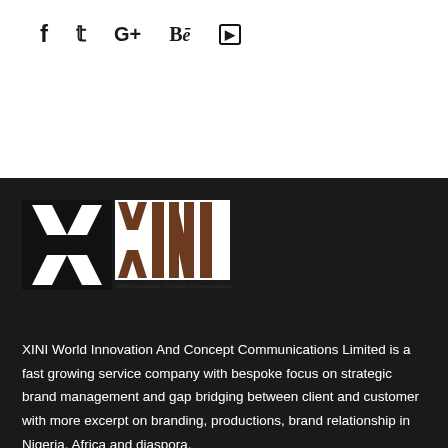f  t  G+  Bē  YouTube
[Figure (logo): XINI World Innovation And Concept Communications Limited logo — white X shape on black background on left, followed by stylized XINI letters with brown/wood texture fill on white background, with tagline 'World Innovation / Concept Communications']
XINI World Innovation And Concept Communications Limited is a fast growing service company with bespoke focus on strategic brand management and gap bridging between client and customer with more excerpt on branding, productions, brand relationship in Nigeria, Africa and diaspora.